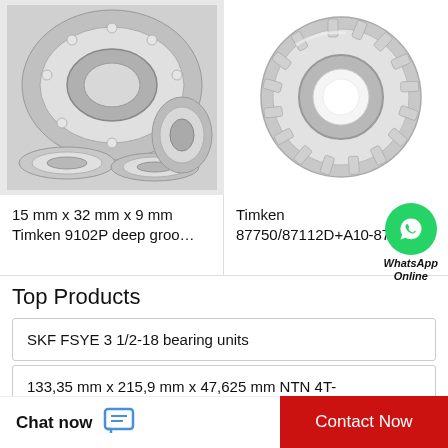[Figure (photo): Multiple silver steel ball bearings and roller bearings grouped together on a white/gray background]
[Figure (photo): Single large silver steel spherical roller bearing viewed from the front on white background]
15 mm x 32 mm x 9 mm Timken 9102P deep groo…
Timken 87750/87112D+A10-877…
[Figure (logo): WhatsApp green circle icon with phone handset symbol, labeled WhatsApp Online]
Top Products
SKF FSYE 3 1/2-18 bearing units
133,35 mm x 215,9 mm x 47,625 mm NTN 4T-74535/74850 tapered roller bearing
Chat now
Contact Now